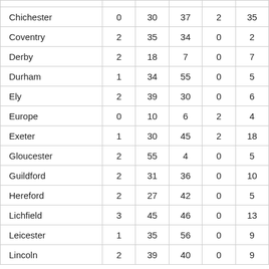| Chichester | 0 | 30 | 37 | 2 | 35 |
| Coventry | 2 | 35 | 34 | 0 | 2 |
| Derby | 2 | 18 | 7 | 0 | 7 |
| Durham | 1 | 34 | 55 | 0 | 5 |
| Ely | 2 | 39 | 30 | 0 | 6 |
| Europe | 0 | 10 | 6 | 2 | 4 |
| Exeter | 1 | 30 | 45 | 2 | 18 |
| Gloucester | 2 | 55 | 4 | 0 | 5 |
| Guildford | 2 | 31 | 36 | 0 | 10 |
| Hereford | 2 | 27 | 42 | 0 | 5 |
| Lichfield | 3 | 45 | 46 | 0 | 13 |
| Leicester | 1 | 35 | 56 | 0 | 9 |
| Lincoln | 2 | 39 | 40 | 0 | 9 |